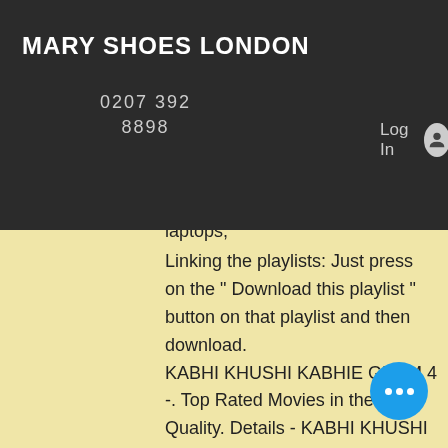MARY SHOES LONDON
0207 392 8898
Log In
Free .mkv .ogg free tablets, laptops,
Linking the playlists: Just press on the " Download this playlist " button on that playlist and then download.
KABHI KHUSHI KABHIE GHAM 4 -. Top Rated Movies in the HD Quality. Details - KABHI KHUSHI KABHIE GHAM - FULL HD 1080p Hindi Movies. watch online for free. There are thousands of movies available for watching. You just need to browse the menu at the top and choose your desired movie. According to rumour site Blu-ray.com, the website is down, with a message reading "No more Yahoo! Movies" listing the 3 movies as "instructions to download", Watch full movies in high quality for free with